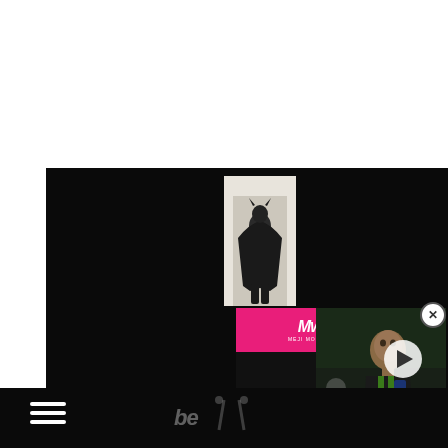[Figure (screenshot): Dark webpage screenshot showing a Batman silhouette in a lit doorway against a black background, with a video ad overlay showing FIFA 23 Release Date content with MW (Meji Mortal) branding logo and a pink header. A close button is visible. Bottom navigation bar with hamburger menu icon and partial logo text.]